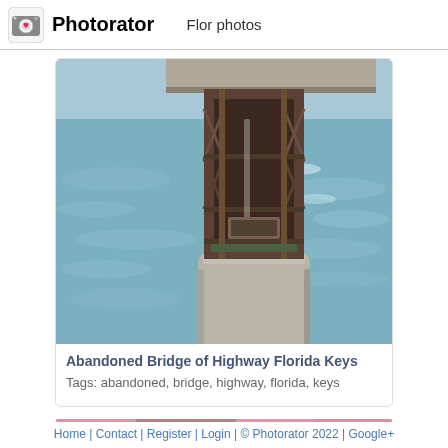Flor photos
Photorator
[Figure (photo): Photo of an abandoned bridge pier/pylon of the Florida Keys Highway, standing in turquoise-blue water. The structure shows a concrete base with rusted metal framework on top. The bridge deck is partially visible at the top.]
Abandoned Bridge of Highway Florida Keys
Tags: abandoned, bridge, highway, florida, keys
[Figure (photo): Partial view of another photo with pink/red tones at the bottom of the page]
Home | Contact | Register | Login | © Photorator 2022 | Google+